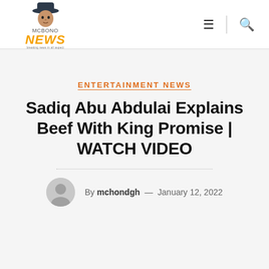[Figure (logo): Mcbono News logo with illustrated figure wearing hat and orange NEWS text]
ENTERTAINMENT NEWS
Sadiq Abu Abdulai Explains Beef With King Promise | WATCH VIDEO
By mchondgh — January 12, 2022